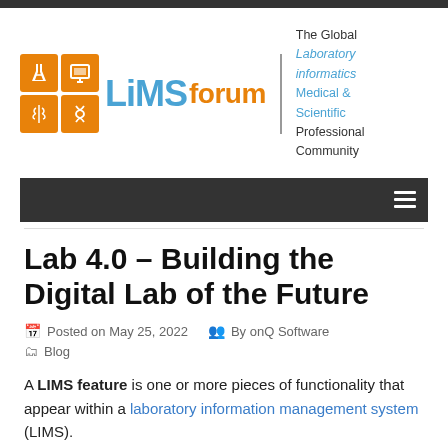[Figure (logo): LiMS Forum logo with orange icon squares, blue LIMS text, orange forum text, and tagline 'The Global Laboratory informatics Medical & Scientific Professional Community']
[Figure (screenshot): Dark navigation bar with hamburger menu icon on the right]
Lab 4.0 – Building the Digital Lab of the Future
Posted on May 25, 2022   By onQ Software   Blog
A LIMS feature is one or more pieces of functionality that appear within a laboratory information management system (LIMS).
The LIMS is an evolving concept, with new features and abilities being introduced every year. As laboratory demands change and technological